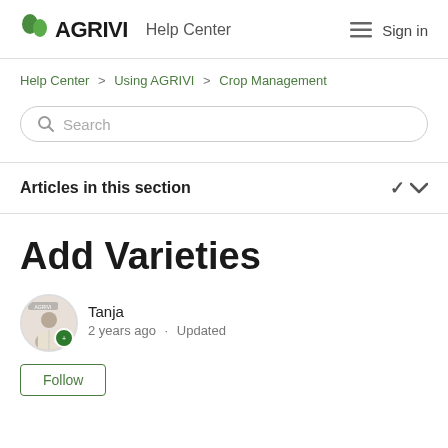AGRIVI Help Center  Sign in
Help Center > Using AGRIVI > Crop Management
Search
Articles in this section
Add Varieties
Tanja
2 years ago · Updated
Follow